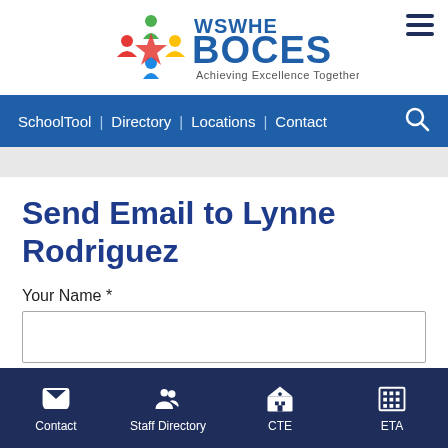[Figure (logo): WSWHE BOCES logo with colorful star figures and text 'Achieving Excellence Together']
SchoolTool | Directory | Locations | Contact
Send Email to Lynne Rodriguez
Your Name *
Contact | Staff Directory | CTE | ETA